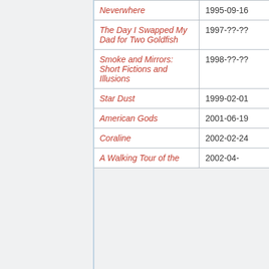| Title | Date | Num | Edition |
| --- | --- | --- | --- |
| Neverwhere | 1995-09-16 | 1 | 1st editi… |
| The Day I Swapped My Dad for Two Goldfish | 1997-??-?? |  |  |
| Smoke and Mirrors: Short Fictions and Illusions | 1998-??-?? |  |  |
| Star Dust | 1999-02-01 |  |  |
| American Gods | 2001-06-19 | 3 | Hardco… |
| Coraline | 2002-02-24 | 4 | 1st Edition |
| A Walking Tour of the… | 2002-04-… |  |  |